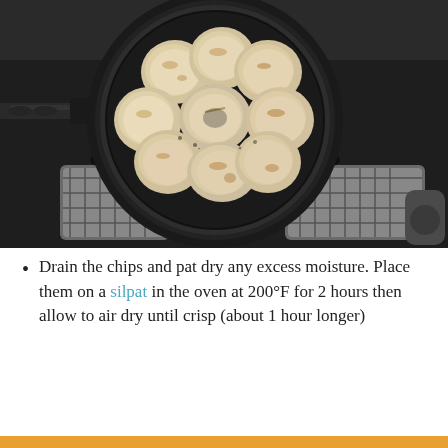[Figure (photo): Overhead view of multiple round dough/bagel pieces arranged in a black non-stick pan on a gas stove, showing the boiling or cooking process.]
Drain the chips and pat dry any excess moisture. Place them on a silpat in the oven at 200°F for 2 hours then allow to air dry until crisp (about 1 hour longer)